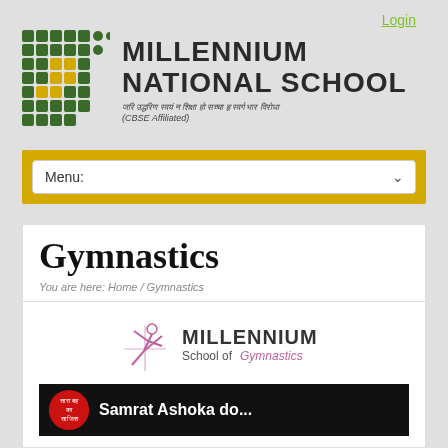Login
[Figure (logo): Millennium National School logo with green grid pattern and school name, tagline in Hindi, (CBSE Affiliated)]
Menu:
Gymnastics
You are here: Home / Gymnastics
[Figure (logo): Millennium School of Gymnastics logo with gymnast silhouette]
[Figure (screenshot): Video thumbnail showing a red circular badge and text 'Samrat Ashoka do...' on black background]